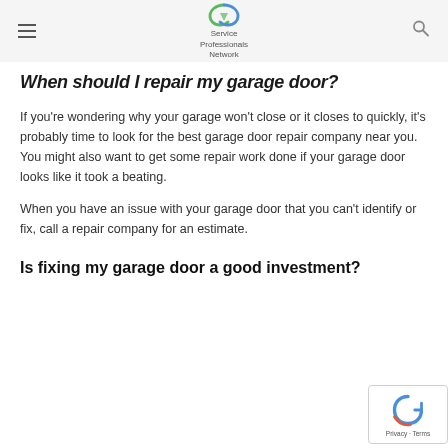Service Professionals Network
When should I repair my garage door?
If you're wondering why your garage won't close or it closes to quickly, it's probably time to look for the best garage door repair company near you. You might also want to get some repair work done if your garage door looks like it took a beating.
When you have an issue with your garage door that you can't identify or fix, call a repair company for an estimate.
Is fixing my garage door a good investment?